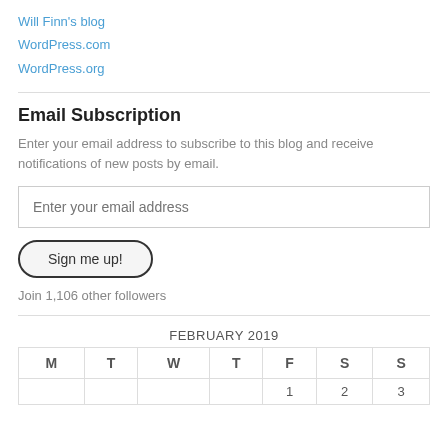Will Finn's blog
WordPress.com
WordPress.org
Email Subscription
Enter your email address to subscribe to this blog and receive notifications of new posts by email.
Enter your email address
Sign me up!
Join 1,106 other followers
FEBRUARY 2019
| M | T | W | T | F | S | S |
| --- | --- | --- | --- | --- | --- | --- |
|  |  |  |  | 1 | 2 | 3 |